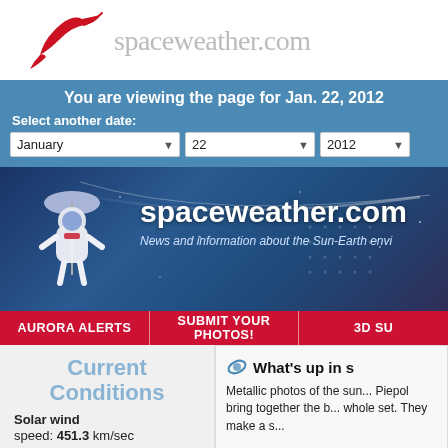[Figure (logo): Spaceweather.com logo with red abstract bird/comet graphic and gray text 'spaceweather.com']
You are viewing the page for Jan. 22, 2012
Select another date: January 22 2012
[Figure (illustration): Spaceweather.com banner with astronaut holding umbrella, site title 'spaceweather.com', subtitle 'News and information about the Sun-Earth envi...']
AURORA ALERTS | SUBMIT YOUR PHOTOS! | 3D SU...
Current Conditions
Solar wind
speed: 451.3 km/sec
What's up in s...
Metallic photos of the sun... Piepol bring together the b... whole set. They make a s...